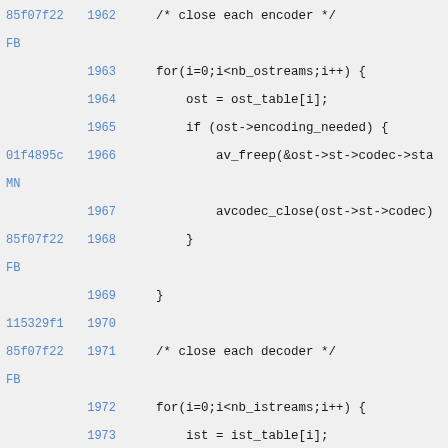Code listing lines 1962-1977 showing encoder and decoder close loops in C
85f07f22 FB 1962 /* close each encoder */
1963     for(i=0;i<nb_ostreams;i++) {
1964         ost = ost_table[i];
1965         if (ost->encoding_needed) {
01f4895c MN 1966             av_freep(&ost->st->codec->sta
1967             avcodec_close(ost->st->codec)
85f07f22 FB 1968         }
1969     }
115329f1 1970
85f07f22 FB 1971     /* close each decoder */
1972     for(i=0;i<nb_istreams;i++) {
1973         ist = ist_table[i];
1974         if (ist->decoding_needed) {
01f4895c 1975             avcodec_close(ist->st->codec)
85f07f22 FB 1976         }
1977     }